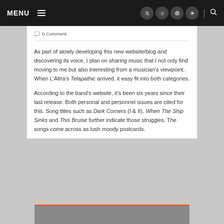MENU
0 Comment
As part of slowly developing this new website/blog and discovering its voice, I plan on sharing music that I not only find moving to me but also interesting from a musician's viewpoint. When L'Altra's Telapathic arrived, it easy fit into both categories.
According to the band's website, it's been six years since their last release. Both personal and personnel issues are cited for this. Song titles such as Dark Corners (I & II), When The Ship Sinks and This Bruise further indicate those struggles. The songs come across as lush moody postcards.
[Figure (photo): Gray image placeholder at bottom of article with orange accent bar at top]